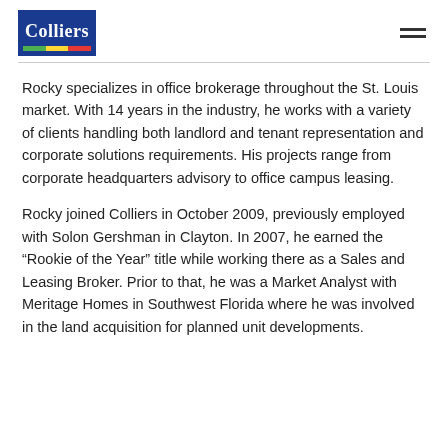Colliers
Rocky specializes in office brokerage throughout the St. Louis market. With 14 years in the industry, he works with a variety of clients handling both landlord and tenant representation and corporate solutions requirements. His projects range from corporate headquarters advisory to office campus leasing.
Rocky joined Colliers in October 2009, previously employed with Solon Gershman in Clayton. In 2007, he earned the “Rookie of the Year” title while working there as a Sales and Leasing Broker. Prior to that, he was a Market Analyst with Meritage Homes in Southwest Florida where he was involved in the land acquisition for planned unit developments.